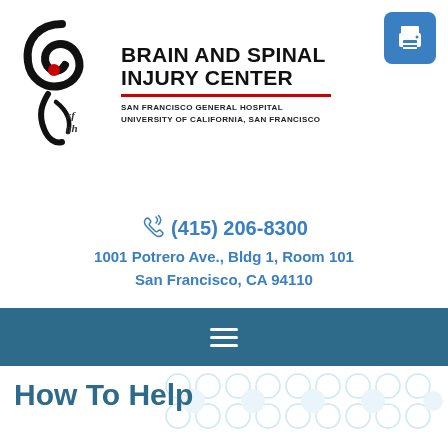[Figure (logo): Brain and Spinal Injury Center logo with spiral design and SFGH hospital logo. Text reads: BRAIN AND SPINAL INJURY CENTER, San Francisco General Hospital, University of California, San Francisco]
(415) 206-8300
1001 Potrero Ave., Bldg 1, Room 101
San Francisco, CA 94110
[Figure (other): Dark teal navigation bar with hamburger menu icon (three white horizontal lines)]
How To Help